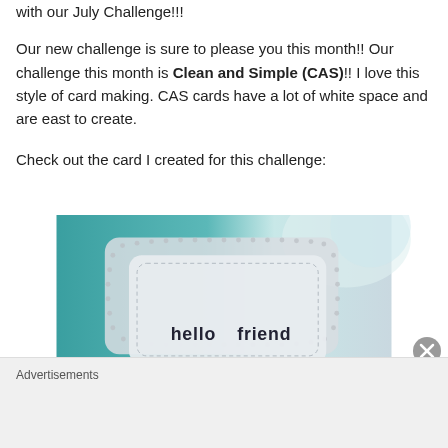with our July Challenge!!!

Our new challenge is sure to please you this month!!  Our challenge this month is Clean and Simple (CAS)!!  I love this style of card making.  CAS cards have a lot of white space and are east to create.
Check out the card I created for this challenge:
[Figure (photo): A handmade greeting card with rounded corners and dotted/embossed border texture, showing 'hello friend' text in a casual font. The card appears white/light gray and is photographed against a blurred teal and white background.]
Advertisements